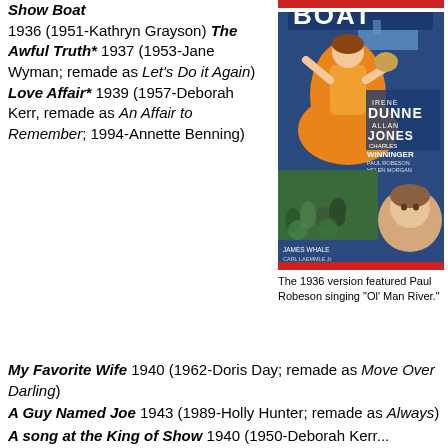Show Boat 1936 (1951-Kathryn Grayson) The Awful Truth* 1937 (1953-Jane Wyman; remade as Let's Do it Again) Love Affair* 1939 (1957-Deborah Kerr, remade as An Affair to Remember; 1994-Annette Benning)
[Figure (photo): Movie poster for Show Boat (1936) featuring Irene Dunne, Allan Jones, Charles Winninger, Paul Robeson, Helen Morgan, directed by James Whale, produced by Carl Laemmle Jr.]
The 1936 version featured Paul Robeson singing "Ol' Man River."
My Favorite Wife 1940 (1962-Doris Day; remade as Move Over Darling)
A Guy Named Joe 1943 (1989-Holly Hunter; remade as Always)
A song at the King of Show 1940 (1950-Deborah Kerr...